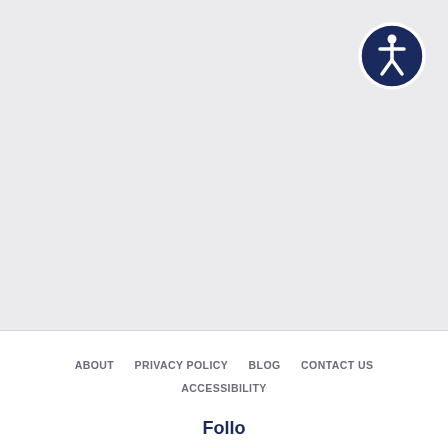[Figure (logo): Accessibility icon: dark navy blue circle with white person/human figure (wheelchair accessible person icon) in the center, with a circular border]
ABOUT    PRIVACY POLICY    BLOG    CONTACT US    ACCESSIBILITY
Follow